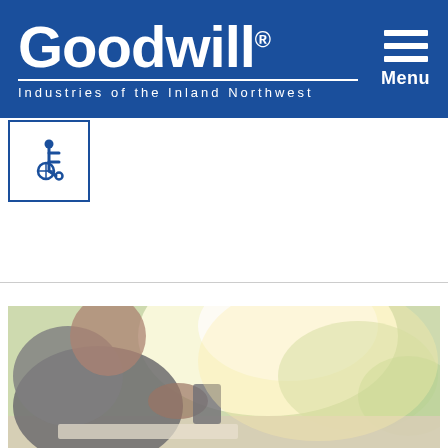Goodwill® Industries of the Inland Northwest — Menu navigation header
[Figure (logo): Goodwill Industries of the Inland Northwest logo in white on blue background, with hamburger menu icon and Menu label on the right]
[Figure (illustration): Accessibility wheelchair icon in blue inside a white square box with blue border]
[Figure (photo): Blurred photo of a person sitting at a desk using a tablet or phone, with warm sunlight in the background. The person appears to be in a cafe or office setting.]